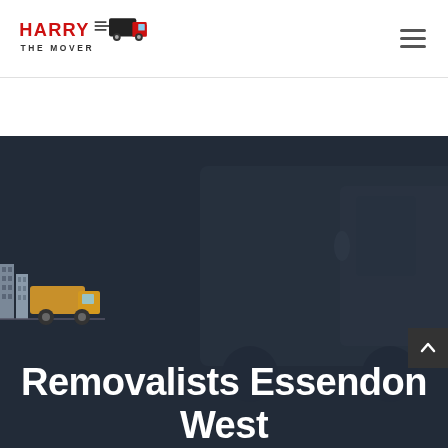[Figure (logo): Harry the Mover logo with red truck and stylized text]
[Figure (illustration): Hamburger/menu icon (three horizontal lines)]
[Figure (photo): Dark hero banner with a truck in the background, a moving truck illustration on the bottom left, and a back-to-top button on the right]
Removalists Essendon West